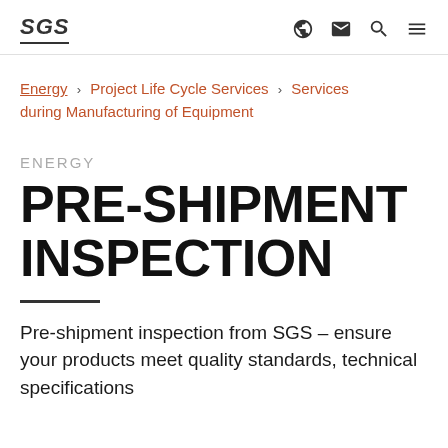SGS | navigation icons: globe, mail, search, menu
Energy › Project Life Cycle Services › Services during Manufacturing of Equipment
ENERGY
PRE-SHIPMENT INSPECTION
Pre-shipment inspection from SGS – ensure your products meet quality standards, technical specifications